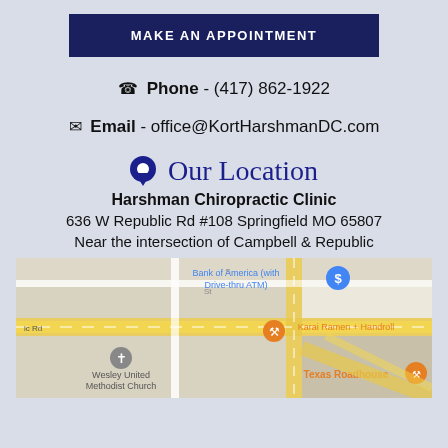MAKE AN APPOINTMENT
📞 Phone  -  (417) 862-1922
✉ Email  -  office@KortHarshmanDC.com
📍 Our Location
Harshman Chiropractic Clinic
636 W Republic Rd #108 Springfield MO 65807
Near the intersection of Campbell & Republic
[Figure (map): Google map showing the area near 636 W Republic Rd #108 Springfield MO 65807, with landmarks including Bank of America with Drive-thru ATM, Karai Ramen + Handroll, Wesley United Methodist Church, and Texas Roadhouse.]